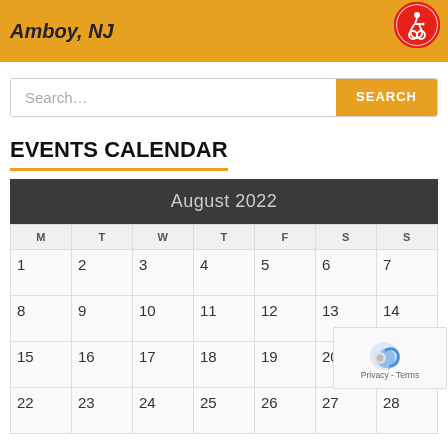Amboy, NJ
Search...
EVENTS CALENDAR
| M | T | W | T | F | S | S |
| --- | --- | --- | --- | --- | --- | --- |
| 1 | 2 | 3 | 4 | 5 | 6 | 7 |
| 8 | 9 | 10 | 11 | 12 | 13 | 14 |
| 15 | 16 | 17 | 18 | 19 | 20 |  |
| 22 | 23 | 24 | 25 | 26 | 27 | 28 |